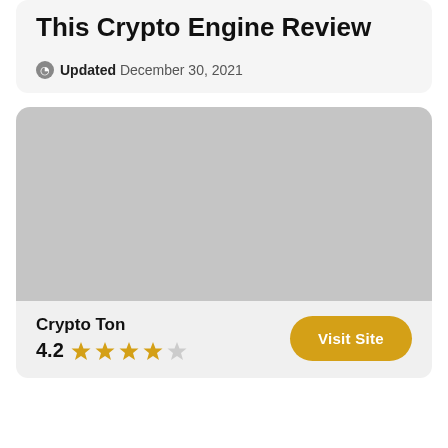This Crypto Engine Review
Updated December 30, 2021
[Figure (photo): Gray placeholder image for Crypto Engine review article]
Crypto Ton
4.2
Visit Site